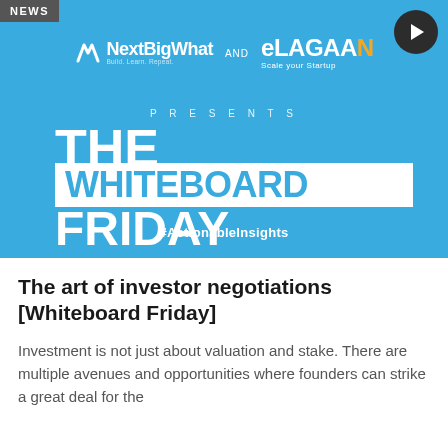[Figure (illustration): Promotional banner for 'The Whiteboard Friday' series presented by NextBigWhat and eLagaan. Blue background with white text showing 'THE WHITEBOARD FRIDAY', logos of both companies, PRESENTS text, hashtag #ActionableInsights, a play button circle, and a NEWS tag.]
The art of investor negotiations [Whiteboard Friday]
Investment is not just about valuation and stake. There are multiple avenues and opportunities where founders can strike a great deal for the